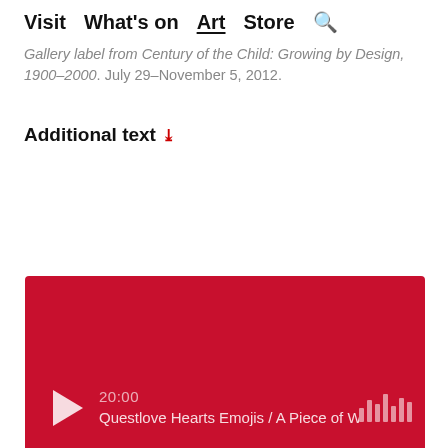Visit  What's on  Art  Store  🔍
Gallery label from Century of the Child: Growing by Design, 1900–2000. July 29–November 5, 2012.
Additional text ∨
[Figure (other): Audio player widget with red background, play button, timestamp 20:00, and title 'Questlove Hearts Emojis / A Piece of Wo[rld]' with waveform bars on the right.]